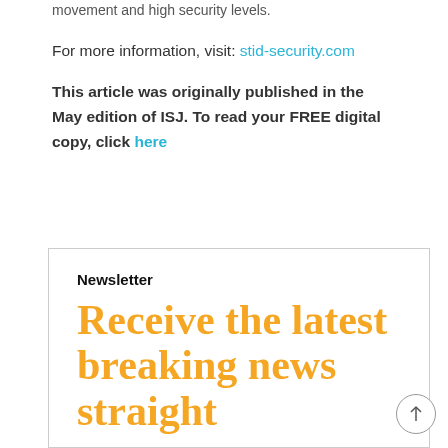movement and high security levels.
For more information, visit: stid-security.com
This article was originally published in the May edition of ISJ. To read your FREE digital copy, click here
Newsletter
Receive the latest breaking news straight